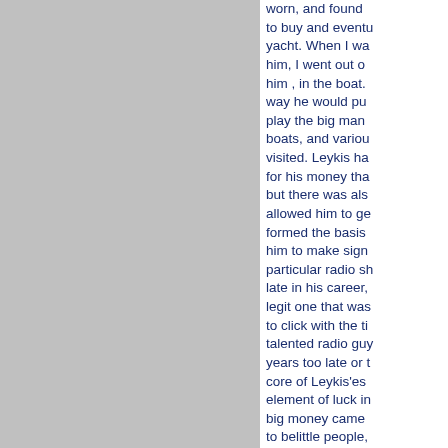[Figure (other): Gray rectangle occupying the left portion of the page]
worn, and found to buy and eventually a yacht. When I was him, I went out on him , in the boat. way he would put play the big man boats, and various visited. Leykis ha for his money tha but there was als allowed him to ge formed the basis him to make sign particular radio sh late in his career, legit one that was to click with the ti talented radio guy years too late or t core of Leykis'es element of luck in big money came to belittle people, as he psychicly is "lessers"(that wou listeners) in a kind judgemental, call has turned him in